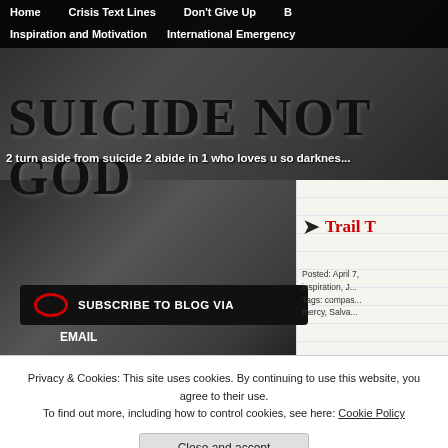Home | Crisis Text Lines | Don't Give Up | B | Inspiration and Motivation | International Emergency
SUICIDE NOT GOD
2 turn aside from suicide 2 abide in 1 who loves u so darkness...
[Figure (screenshot): Dark textured background image with grunge/stone texture in black and grey tones]
SUBSCRIBE TO BLOG VIA EMAIL
Trail T...
Posted: April 7, inspiration, J... Tags: compas... mercy, Salva...
Privacy & Cookies: This site uses cookies. By continuing to use this website, you agree to their use. To find out more, including how to control cookies, see here: Cookie Policy
Close and accept
Join 131 other followers